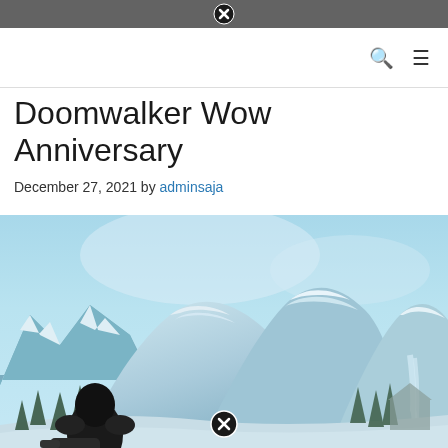Doomwalker Wow Anniversary
December 27, 2021 by adminsaja
[Figure (screenshot): World of Warcraft game screenshot showing a snowy mountain landscape with icy peaks, pine trees, a waterfall, and a dark armored character figure in the foreground on the left side. Light blue sky with soft clouds in the background.]